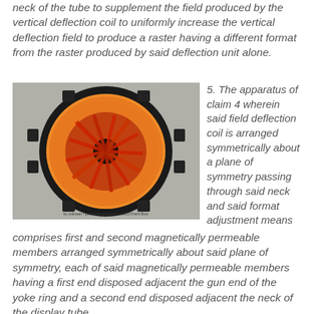neck of the tube to supplement the field produced by the vertical deflection coil to uniformly increase the vertical deflection field to produce a raster having a different format from the raster produced by said deflection unit alone.
[Figure (photo): Photograph of a television deflection yoke component, showing a circular assembly with orange/red coils and black frame with protruding mounting tabs, viewed from the front.]
5. The apparatus of claim 4 wherein said field deflection coil is arranged symmetrically about a plane of symmetry passing through said neck and said format adjustment means comprises first and second magnetically permeable members arranged symmetrically about said plane of symmetry, each of said magnetically permeable members having a first end disposed adjacent the gun end of the yoke ring and a second end disposed adjacent the neck of the display tube.